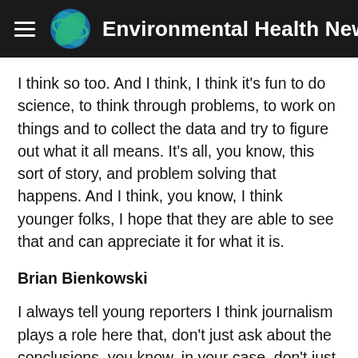Environmental Health News
I think so too. And I think, I think it's fun to do science, to think through problems, to work on things and to collect the data and try to figure out what it all means. It's all, you know, this sort of story, and problem solving that happens. And I think, you know, I think younger folks, I hope that they are able to see that and can appreciate it for what it is.
Brian Bienkowski
I always tell young reporters I think journalism plays a role here that, don't just ask about the conclusions, you know, in your case, don't just ask